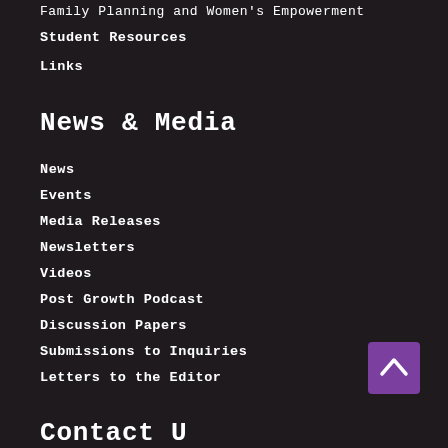Family Planning and Women's Empowerment
Student Resources
Links
News & Media
News
Events
Media Releases
Newsletters
Videos
Post Growth Podcast
Discussion Papers
Submissions to Inquiries
Letters to the Editor
[Figure (other): Purple scroll-to-top button with upward chevron arrow]
Contact Us